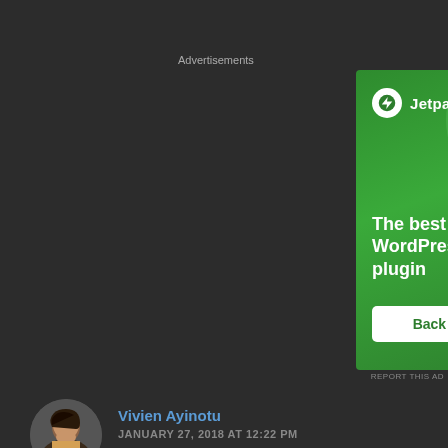Advertisements
[Figure (advertisement): Jetpack WordPress plugin advertisement with green background, Jetpack logo, headline 'The best real-time WordPress backup plugin', and a 'Back up your site' button]
REPORT THIS AD
Vivien Ayinotu
JANUARY 27, 2018 AT 12:22 PM